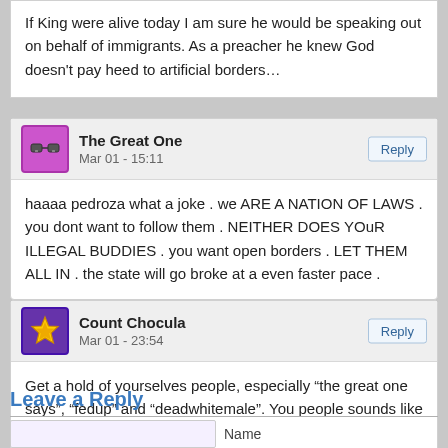If King were alive today I am sure he would be speaking out on behalf of immigrants. As a preacher he knew God doesn't pay heed to artificial borders…
The Great One
Mar 01 - 15:11
haaaa pedroza what a joke . we ARE A NATION OF LAWS . you dont want to follow them . NEITHER DOES YOuR ILLEGAL BUDDIES . you want open borders . LET THEM ALL IN . the state will go broke at a even faster pace .
Count Chocula
Mar 01 - 23:54
Get a hold of yourselves people, especially “the great one says”, “fedup” and “deadwhitemale”. You people sounds like idiots.
Leave a Reply
Name